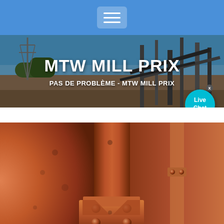[Figure (screenshot): Website navigation bar with blue background and hamburger menu icon (three horizontal lines) centered in a rounded rectangle button]
[Figure (photo): Banner image showing an industrial mining or quarrying facility with conveyor belts and steel structures under a blue sky. Overlaid text reads 'MTW MILL PRIX' as the main title and 'PAS DE PROBLÈME - MTW MILL PRIX' as subtitle. A Live Chat bubble icon is in the bottom-right corner.]
MTW MILL PRIX
PAS DE PROBLÈME - MTW MILL PRIX
[Figure (photo): Close-up photograph of rusty/orange-colored heavy industrial machinery parts showing bolted metal brackets and cylindrical components, likely a mill or crusher mechanism.]